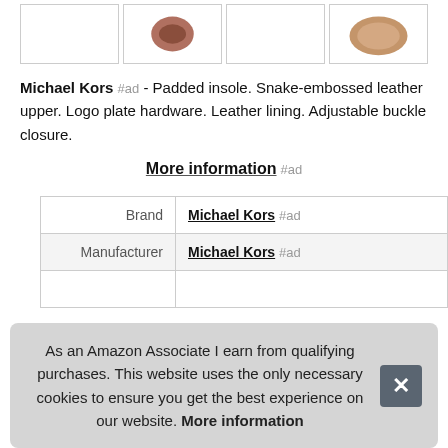[Figure (photo): Row of four product thumbnail images (shoes/sandals) in bordered boxes. Second box shows a brown/rose sandal top view, fourth box shows a tan/nude sandal sole view.]
Michael Kors #ad - Padded insole. Snake-embossed leather upper. Logo plate hardware. Leather lining. Adjustable buckle closure.
More information #ad
|  |  |
| --- | --- |
| Brand | Michael Kors #ad |
| Manufacturer | Michael Kors #ad |
|  |  |
|  |  |
|  |  |
As an Amazon Associate I earn from qualifying purchases. This website uses the only necessary cookies to ensure you get the best experience on our website. More information